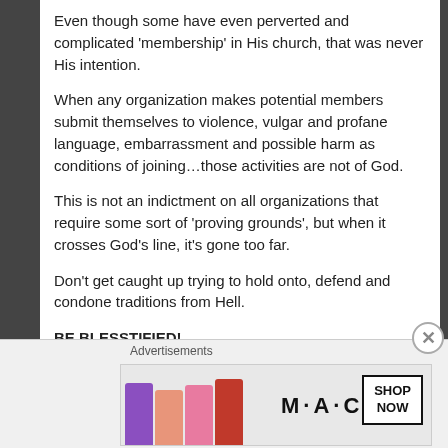Even though some have even perverted and complicated ‘membership’ in His church, that was never His intention.
When any organization makes potential members submit themselves to violence, vulgar and profane language, embarrassment and possible harm as conditions of joining…those activities are not of God.
This is not an indictment on all organizations that require some sort of ‘proving grounds’, but when it crosses God’s line, it’s gone too far.
Don’t get caught up trying to hold onto, defend and condone traditions from Hell.
BE BLESSTIFIED!
Advertisements
[Figure (illustration): MAC Cosmetics advertisement showing lipsticks in purple, peach, pink, and red colors alongside the MAC logo and a SHOP NOW button]